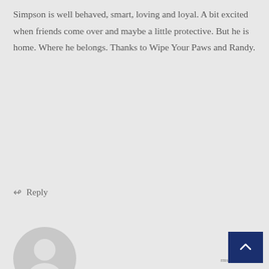Simpson is well behaved, smart, loving and loyal. A bit excited when friends come over and maybe a little protective. But he is home. Where he belongs. Thanks to Wipe Your Paws and Randy.
↩ Reply
[Figure (illustration): Gray default avatar/profile picture showing a generic person silhouette]
Haruna
10:29 PM, 20 March 2012
Ms. Zeldean,I'm so glad to hear that Simpson is still doing good. He was a joy to work with, most of the time, and he turned out so well. He